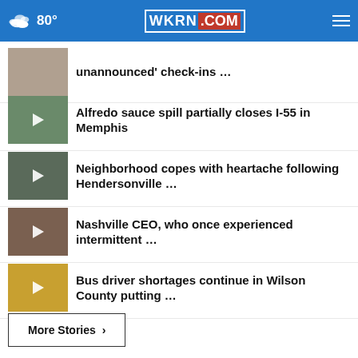80° WKRN.COM
unannounced' check-ins …
Alfredo sauce spill partially closes I-55 in Memphis
Neighborhood copes with heartache following Hendersonville …
Nashville CEO, who once experienced intermittent …
Bus driver shortages continue in Wilson County putting …
More Stories ›